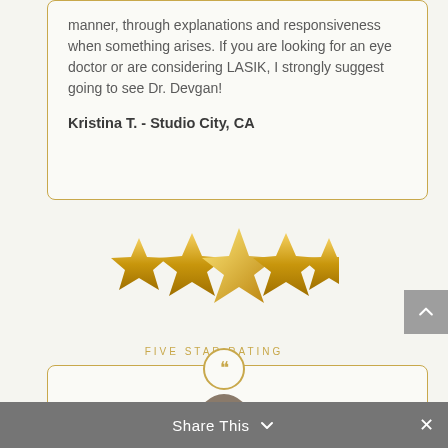manner, through explanations and responsiveness when something arises. If you are looking for an eye doctor or are considering LASIK, I strongly suggest going to see Dr. Devgan!
Kristina T. - Studio City, CA
[Figure (illustration): Five gold stars representing a five-star rating]
FIVE STAR RATING
[Figure (other): Quotation mark icon in a circle, beginning of a new review box]
[Figure (other): Share This toolbar at bottom with close button and avatar circle]